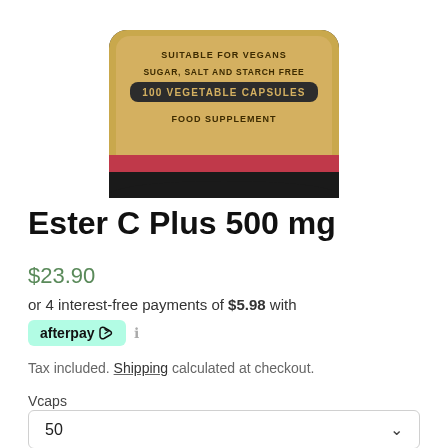[Figure (photo): Bottom portion of a Solgar Ester C Plus 500 mg supplement bottle with gold label showing 'SUITABLE FOR VEGANS', 'SUGAR, SALT AND STARCH FREE', '100 VEGETABLE CAPSULES', 'FOOD SUPPLEMENT', and a red band.]
Ester C Plus 500 mg
$23.90
or 4 interest-free payments of $5.98 with
[Figure (logo): Afterpay logo badge in mint green with afterpay and circular arrows icon, followed by an info icon]
Tax included. Shipping calculated at checkout.
Vcaps
50